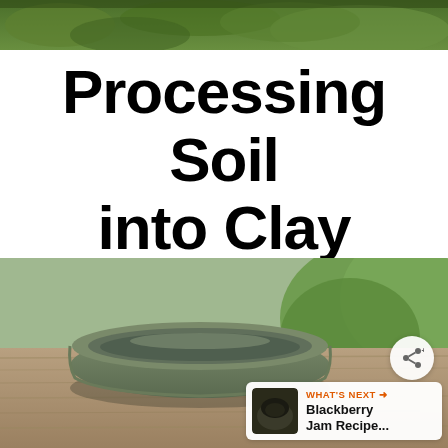[Figure (photo): Top banner photo showing green foliage/garden background, cropped at the top of the page]
Processing Soil into Clay for Pottery
[Figure (photo): Photo of a handmade greenish-grey clay pottery dish/bowl sitting on a wooden surface with green plants in background. Has share button overlay and 'What's Next: Blackberry Jam Recipe...' overlay in bottom right.]